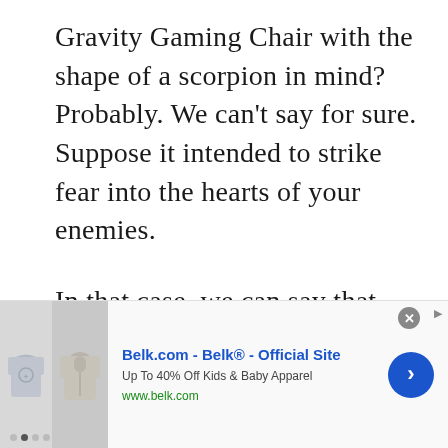Gravity Gaming Chair with the shape of a scorpion in mind? Probably. We can't say for sure. Suppose it intended to strike fear into the hearts of your enemies.
In that case, we can say that Imperatorworks accomplished what it set out to do.
The IWJ20 Imperator Works Computer Gaming is made out of industrial-grade carbon steel for maximum durability. In addition to this, the gaming chair gives you
[Figure (other): Advertisement banner for Belk.com showing children's clothing images, text 'Belk.com - Belk® - Official Site', 'Up To 40% Off Kids & Baby Apparel', 'www.belk.com', with a blue forward arrow button and close button]